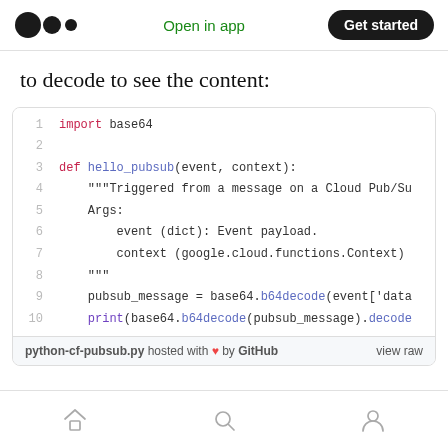Medium logo | Open in app | Get started
to decode to see the content:
[Figure (screenshot): GitHub Gist code snippet showing a Python Cloud Function (python-cf-pubsub.py) with 10 lines: imports base64, defines hello_pubsub(event, context) with docstring, decodes pubsub message using base64.b64decode]
Home | Search | Profile icons (bottom navigation)